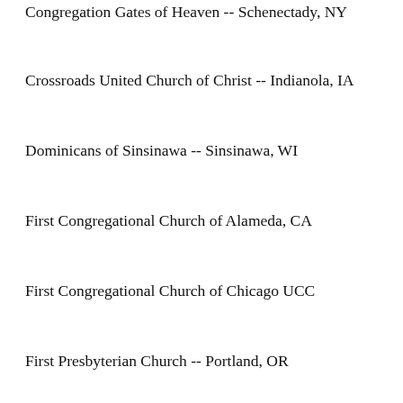Congregation Gates of Heaven -- Schenectady, NY
Crossroads United Church of Christ -- Indianola, IA
Dominicans of Sinsinawa -- Sinsinawa, WI
First Congregational Church of Alameda, CA
First Congregational Church of Chicago UCC
First Presbyterian Church -- Portland, OR
Grey Nuns of the Sacred Heart -- Philadelphia, PA
Harbor House -- Thousand Oaks, CA
Holy Spirit Missionary Sisters, USA JPIC -- Waukegan, IL
IHM Sisters - Justice, Peace and Sustainability Office -- Monroe, MI
Immanuel Lutheran Church of Los Altos, California